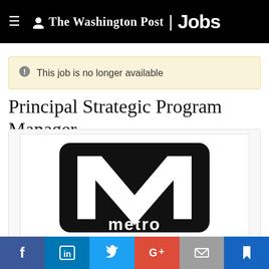The Washington Post Jobs
This job is no longer available
Principal Strategic Program Manager
[Figure (logo): Washington Metropolitan Area Transit Authority (WMATA) Metro logo: black rounded rectangle with large white M and 'metro' text below]
[Figure (other): Social media sharing icons bar: Facebook, LinkedIn, Twitter, Google+, Email, Bookmark]